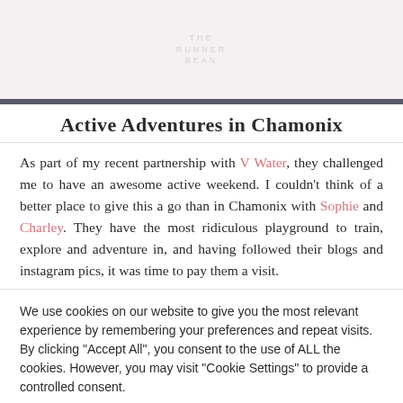THE RUNNER BEAN
Active Adventures in Chamonix
As part of my recent partnership with V Water, they challenged me to have an awesome active weekend. I couldn't think of a better place to give this a go than in Chamonix with Sophie and Charley. They have the most ridiculous playground to train, explore and adventure in, and having followed their blogs and instagram pics, it was time to pay them a visit.
We use cookies on our website to give you the most relevant experience by remembering your preferences and repeat visits. By clicking "Accept All", you consent to the use of ALL the cookies. However, you may visit "Cookie Settings" to provide a controlled consent.